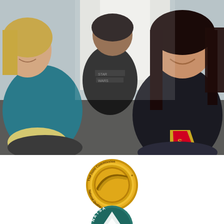[Figure (photo): Three people sitting together, laughing and smiling. On the left is a woman with blonde hair wearing a teal/blue jacket. In the center-back is a person wearing a dark t-shirt with 'Star Wars' text. On the right is a young woman with long dark hair wearing a black t-shirt with a Superman logo, holding a Dr Pepper can. Bright window light in background.]
[Figure (logo): The Joint Commission National Quality Approval gold seal/medallion logo. A circular gold badge with a stylized checkmark/swoosh in the center and text reading 'The Joint Commission' on top and 'National Quality Approval' on the bottom.]
[Figure (logo): Partial NATSA logo visible at the bottom - a teal/dark green circular badge with a pine tree symbol and letters 'NATSA' around the edge. Only the top portion is visible.]